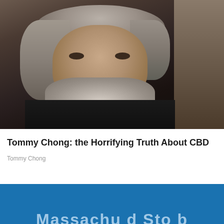[Figure (photo): Portrait photo of an older man with long gray-white hair, a white beard, and deep-set eyes, wearing a dark jacket. Dark studio-style background.]
Tommy Chong: the Horrifying Truth About CBD
Tommy Chong